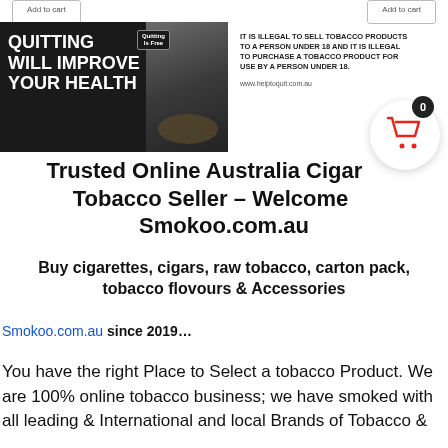[Figure (photo): Banner advertisement for quitting smoking. Left side: dark banner with white bold text 'QUITTING WILL IMPROVE YOUR HEALTH' and a photo of a hand stubbing out a cigarette in an ashtray. Right side: legal text 'IT IS ILLEGAL TO SELL TOBACCO PRODUCTS TO A PERSON UNDER 18 AND IT IS ILLEGAL TO PURCHASE A TOBACCO PRODUCT FOR USE BY A PERSON UNDER 18.' with URL www.helptoquit.com.au]
Trusted Online Australia Cigarette Tobacco Seller – Welcome to Smokoo.com.au
Buy cigarettes, cigars, raw tobacco, carton pack, tobacco flovours & Accessories
Smokoo.com.au since 2019…
You have the right Place to Select a tobacco Product. We are 100% online tobacco business; we have smoked with all leading & International and local Brands of Tobacco &